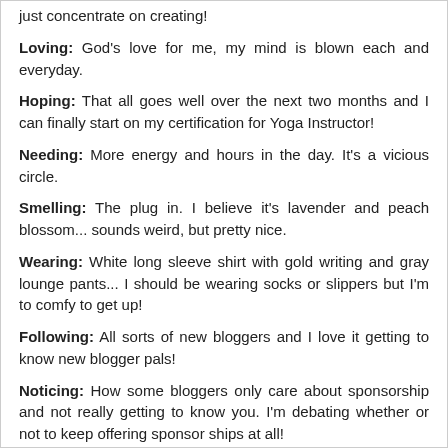just concentrate on creating!
Loving: God's love for me, my mind is blown each and everyday.
Hoping: That all goes well over the next two months and I can finally start on my certification for Yoga Instructor!
Needing: More energy and hours in the day. It's a vicious circle.
Smelling: The plug in. I believe it's lavender and peach blossom... sounds weird, but pretty nice.
Wearing: White long sleeve shirt with gold writing and gray lounge pants... I should be wearing socks or slippers but I'm to comfy to get up!
Following: All sorts of new bloggers and I love it getting to know new blogger pals!
Noticing: How some bloggers only care about sponsorship and not really getting to know you. I'm debating whether or not to keep offering sponsor ships at all!
Knowing: That I will not like taking Ginny to the Vet tomorrow, but it must be done.
Thinking: This winter will not beat me!